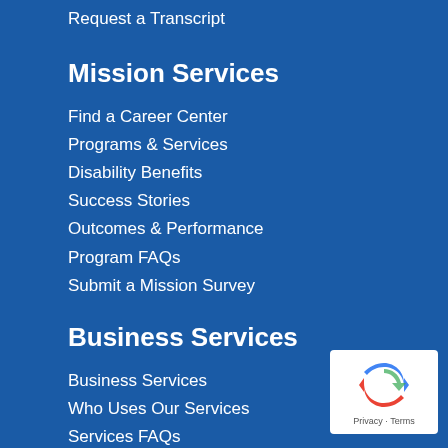Request a Transcript
Mission Services
Find a Career Center
Programs & Services
Disability Benefits
Success Stories
Outcomes & Performance
Program FAQs
Submit a Mission Survey
Business Services
Business Services
Who Uses Our Services
Services FAQs
Request a Quote
About
About
[Figure (logo): reCAPTCHA badge with Google logo arrow icon and Privacy - Terms text]